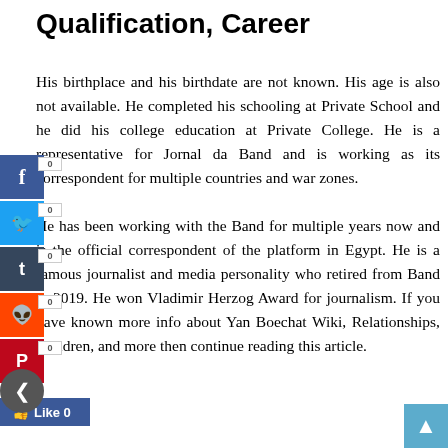Qualification, Career
His birthplace and his birthdate are not known. His age is also not available. He completed his schooling at Private School and he did his college education at Private College. He is a representative for Jornal da Band and is working as its correspondent for multiple countries and war zones.

He has been working with the Band for multiple years now and is the official correspondent of the platform in Egypt. He is a famous journalist and media personality who retired from Band in 2019. He won Vladimir Herzog Award for journalism. If you have known more info about Yan Boechat Wiki, Relationships, Children, and more then continue reading this article.